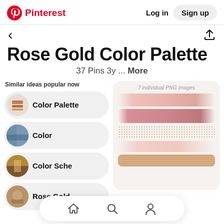Pinterest  Log in  Sign up
Rose Gold Color Palette
37 Pins 3y ... More
Similar ideas popular now
Color Palette
Color
Color Sche
Rose Gold
[Figure (screenshot): Rose gold paint brush stroke swatches and glitter textures on light background, with text '7 individual PNG images']